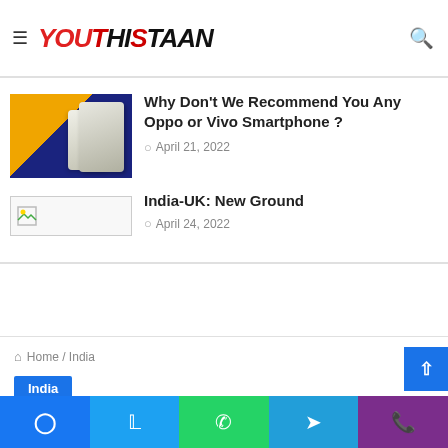YOUTHISTAAN
Tejaswi Prakash Biography and Gallery
[Figure (photo): Two Oppo/Vivo smartphones on orange and blue background]
Why Don't We Recommend You Any Oppo or Vivo Smartphone ?
April 21, 2022
[Figure (photo): Broken image thumbnail]
India-UK: New Ground
April 24, 2022
Home / India
India